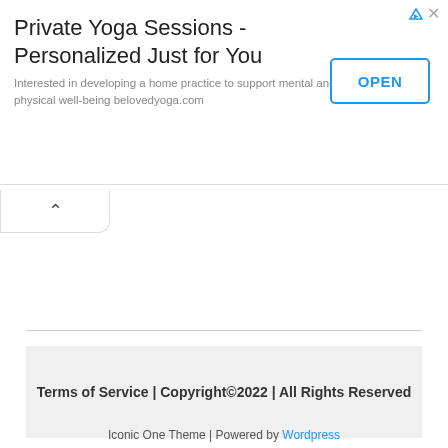[Figure (other): Advertisement banner for Private Yoga Sessions - belovedyoga.com with an OPEN button]
Terms of Service | Copyright©2022 | All Rights Reserved
Iconic One Theme | Powered by Wordpress